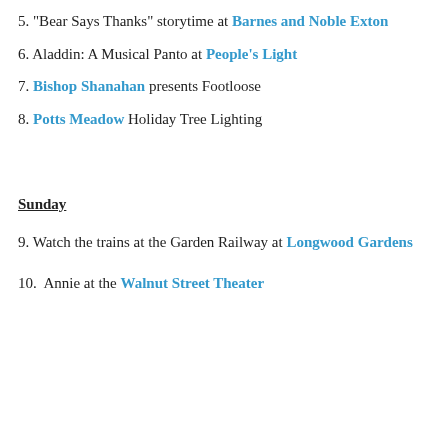5. "Bear Says Thanks" storytime at Barnes and Noble Exton
6. Aladdin: A Musical Panto at People's Light
7. Bishop Shanahan presents Footloose
8. Potts Meadow Holiday Tree Lighting
Sunday
9. Watch the trains at the Garden Railway at Longwood Gardens
10.  Annie at the Walnut Street Theater